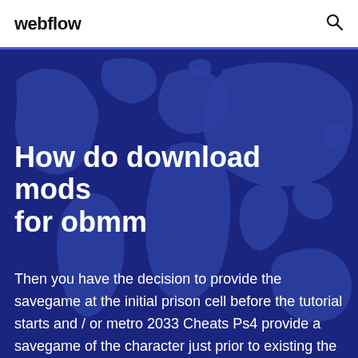webflow
[Figure (illustration): World map silhouette on dark blue background serving as hero section backdrop]
How do download mods for obmm
Then you have the decision to provide the savegame at the initial prison cell before the tutorial starts and / or metro 2033 Cheats Ps4 provide a savegame of the character just prior to existing the